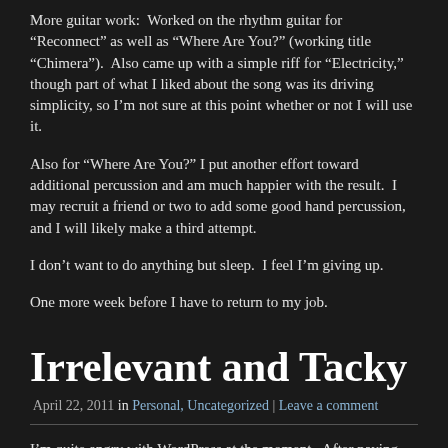More guitar work:  Worked on the rhythm guitar for “Reconnect” as well as “Where Are You?” (working title “Chimera”).  Also came up with a simple riff for “Electricity,” though part of what I liked about the song was its driving simplicity, so I’m not sure at this point whether or not I will use it.
Also for “Where Are You?” I put another effort toward additional percussion and am much happier with the result.  I may recruit a friend or two to add some good hand percussion, and I will likely make a third attempt.
I don’t want to do anything but sleep.  I feel I’m giving up.
One more week before I have to return to my job.
Irrelevant and Tacky
April 22, 2011 in Personal, Uncategorized | Leave a comment
I’m quite angry with WordPress at the moment.  After paying for the domain name, I’d rather not have PopPressed invading the bottom of posts with such trash as “What One Does in Paris If One Is a Carter or a Knowles.”  The blog remained advertisement-free until I upgraded, and now I have to pay another